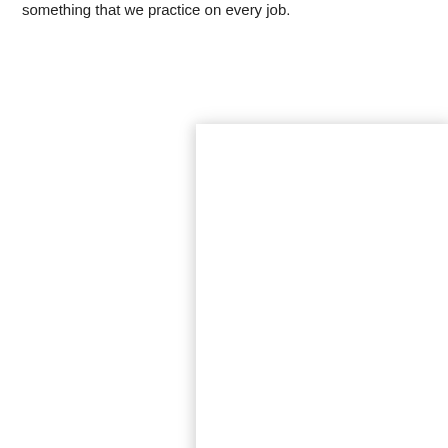something that we practice on every job.
[Figure (other): A blank white page with a soft drop shadow, centered on the lower portion of the image.]